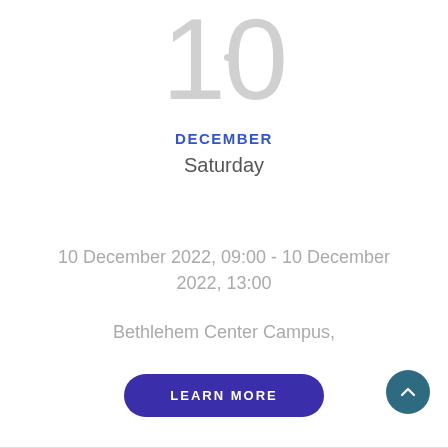10
DECEMBER
Saturday
10 December 2022, 09:00 - 10 December 2022, 13:00
Bethlehem Center Campus,
LEARN MORE